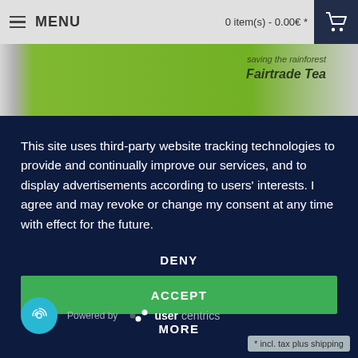MENU  0 item(s) - 0.00€ *
[Figure (photo): Partial view of a Fairtrade Tea product box with green packaging and text 'saving the rainforest Fairtrade Tea']
This site uses third-party website tracking technologies to provide and continually improve our services, and to display advertisements according to users' interests. I agree and may revoke or change my consent at any time with effect for the future.
DENY
ACCEPT
MORE
Powered by  usercentrics
* incl. tax plus shipping